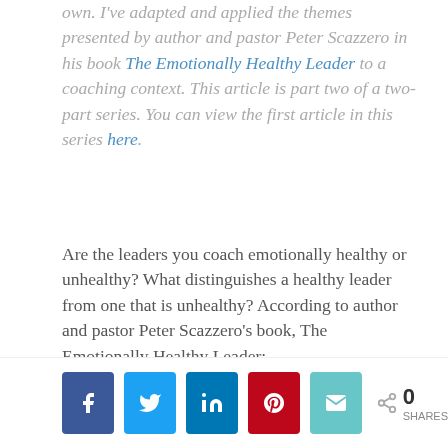own. I've adapted and applied the themes presented by author and pastor Peter Scazzero in his book The Emotionally Healthy Leader to a coaching context. This article is part two of a two-part series. You can view the first article in this series here.
Are the leaders you coach emotionally healthy or unhealthy? What distinguishes a healthy leader from one that is unhealthy? According to author and pastor Peter Scazzero's book, The Emotionally Healthy Leader:
[Figure (infographic): Social share bar with Facebook, Twitter, LinkedIn, Pinterest, and Email buttons, plus a share count showing 0 SHARES]